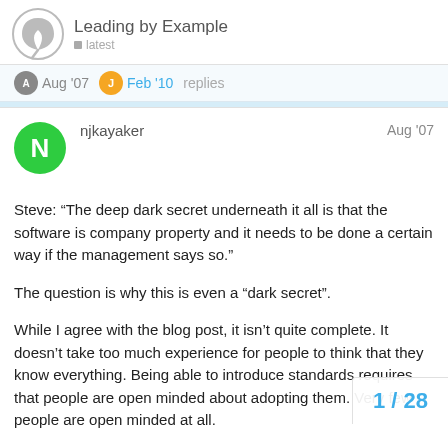Leading by Example
Aug '07   Feb '10   replies
njkayaker   Aug '07
Steve: “The deep dark secret underneath it all is that the software is company property and it needs to be done a certain way if the management says so.”
The question is why this is even a “dark secret”.
While I agree with the blog post, it isn’t quite complete. It doesn’t take too much experience for people to think that they know everything. Being able to introduce standards requires that people are open minded about adopting them. Very few people are open minded at all.
One does need to be “respectful” but one also needs to be clear that standards have to be followed be...
1 / 28